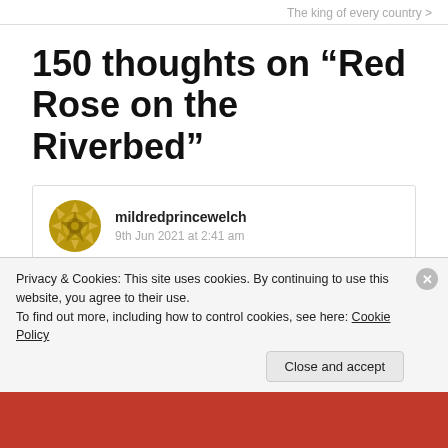The king of every country >
150 thoughts on “Red Rose on the Riverbed”
mildredprincewelch
9th Jun 2021 at 2:41 am
Privacy & Cookies: This site uses cookies. By continuing to use this website, you agree to their use.
To find out more, including how to control cookies, see here: Cookie Policy
Close and accept